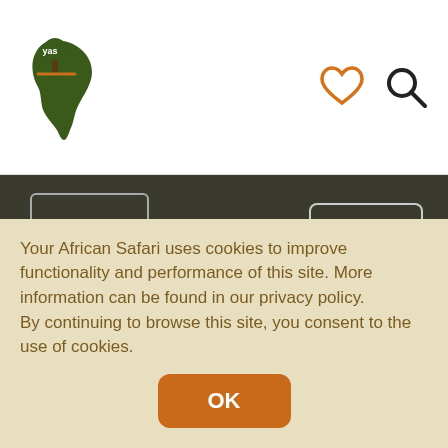[Figure (logo): Your African Safari logo - Africa continent shape with tree icon in dark green/brown]
[Figure (infographic): Heart icon outline in orange and magnifying glass search icon in dark gray in header]
[Figure (infographic): Hamburger menu icon (three horizontal lines) in a rounded rectangle border on dark background]
Login
Wildlife
Blog
About
Join us
Countries
Your African Safari uses cookies to improve functionality and performance of this site. More information can be found in our privacy policy.
By continuing to browse this site, you consent to the use of cookies.
OK